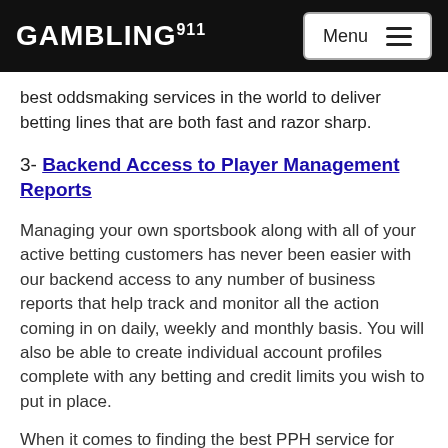GAMBLING911 | Menu
best oddsmaking services in the world to deliver betting lines that are both fast and razor sharp.
3- Backend Access to Player Management Reports
Managing your own sportsbook along with all of your active betting customers has never been easier with our backend access to any number of business reports that help track and monitor all the action coming in on daily, weekly and monthly basis. You will also be able to create individual account profiles complete with any betting and credit limits you wish to put in place.
When it comes to finding the best PPH service for your money, one call to 800.498.4709 is all it takes to get started. You can also visit us online at PremierPerHead.com to see for yourself why we are the No.1 Per Head service in the country.